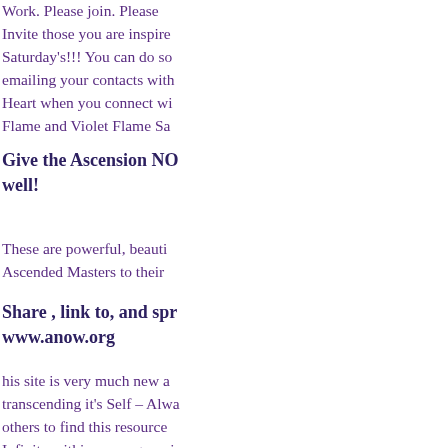Work. Please join. Please Invite those you are inspired Saturday's!!! You can do so emailing your contacts with Heart when you connect wi Flame and Violet Flame Sa
Give the Ascension NO well!
These are powerful, beauti Ascended Masters to their
Share , link to, and spr www.anow.org
his site is very much new a transcending it's Self – Alwa others to find this resource Infinity within as we grow i the WORD.